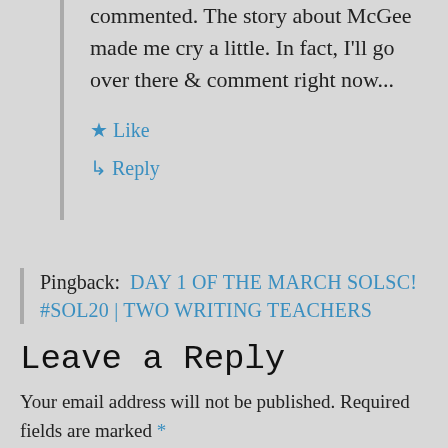commented. The story about McGee made me cry a little. In fact, I'll go over there & comment right now...
★ Like
↳ Reply
Pingback:  DAY 1 OF THE MARCH SOLSC! #SOL20 | TWO WRITING TEACHERS
Leave a Reply
Your email address will not be published. Required fields are marked *
Comment *